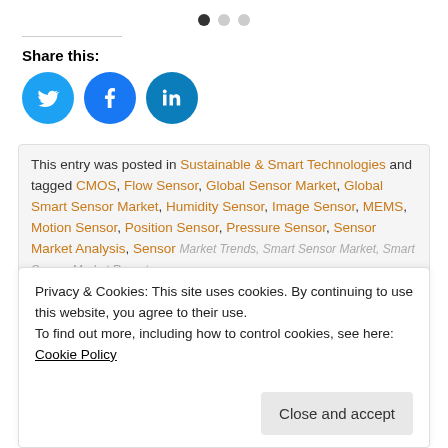[Figure (other): Three pagination dots at top center: first dot filled/dark, second and third dots empty/gray]
Share this:
[Figure (other): Three social media share buttons: Twitter (cyan circle with bird icon), Facebook (blue circle with f icon), LinkedIn (dark teal circle with in icon)]
This entry was posted in Sustainable & Smart Technologies and tagged CMOS, Flow Sensor, Global Sensor Market, Global Smart Sensor Market, Humidity Sensor, Image Sensor, MEMS, Motion Sensor, Position Sensor, Pressure Sensor, Sensor Market Analysis, Sensor Market Trends, Smart Sensor Market, Smart Sensor Market Report
Privacy & Cookies: This site uses cookies. By continuing to use this website, you agree to their use.
To find out more, including how to control cookies, see here: Cookie Policy
Close and accept